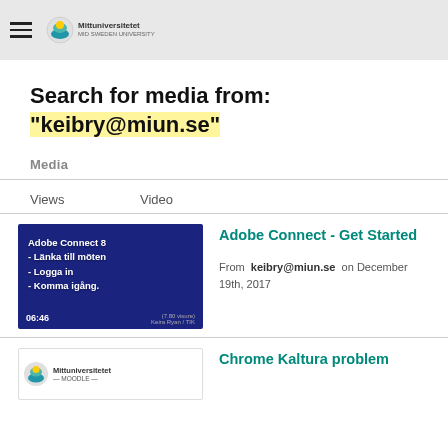Mittuniversitetet header with hamburger menu and logo
Search for media from: "keibry@miun.se"
Media
Views   Video
[Figure (screenshot): Blue slide thumbnail showing Adobe Connect 8 - Länka till möten - Logga in - Komma igång. Duration 06:46]
Adobe Connect - Get Started
From keibry@miun.se on December 19th, 2017
[Figure (screenshot): White thumbnail with Mittuniversitetet logo and Moodle text]
Chrome Kaltura problem